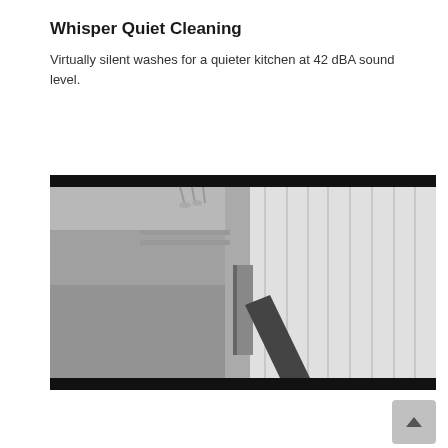Whisper Quiet Cleaning
Virtually silent washes for a quieter kitchen at 42 dBA sound level.
[Figure (photo): Black and white photograph of a dishwasher being opened, showing the interior rack with glassware and the door handle, set against white curtains or drapes in the background.]